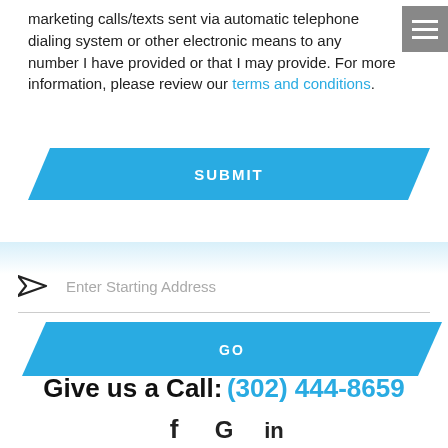marketing calls/texts sent via automatic telephone dialing system or other electronic means to any number I have provided or that I may provide. For more information, please review our terms and conditions.
[Figure (other): Blue parallelogram SUBMIT button]
Enter Starting Address
[Figure (other): Blue parallelogram GO button]
Give us a Call: (302) 444-8659